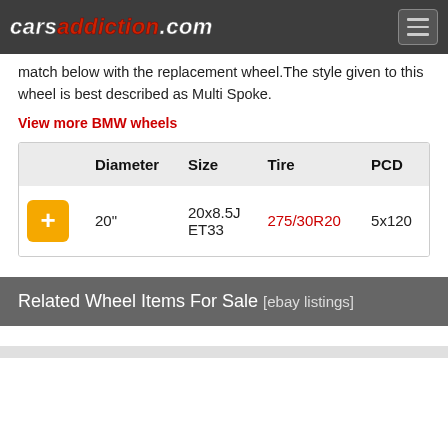carsaddiction.com
match below with the replacement wheel. The style given to this wheel is best described as Multi Spoke.
View more BMW wheels
|  | Diameter | Size | Tire | PCD |
| --- | --- | --- | --- | --- |
| + (button) | 20" | 20x8.5J ET33 | 275/30R20 | 5x120 |
Related Wheel Items For Sale [ebay listings]